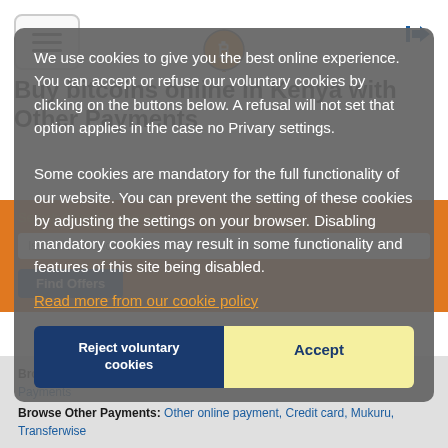[Figure (screenshot): Website navigation bar with hamburger menu, Bitcoin logo, and login button]
Buy bitcoins online in Kenya with Other Payments
Search Other Payments
Issuer or Service
Find Offers
Browse Offers: Bank Transfers, Online Wallets, Remittance, Other Payments
Browse Other Payments: Other online payment, Credit card, Mukuru, Transferwise
We use cookies to give you the best online experience. You can accept or refuse our voluntary cookies by clicking on the buttons below. A refusal will not set that option applies in the case no Privary settings. Some cookies are mandatory for the full functionality of our website. You can prevent the setting of these cookies by adjusting the settings on your browser. Disabling mandatory cookies may result in some functionality and features of this site being disabled.
Read more from our cookie policy
Reject voluntary cookies
Accept